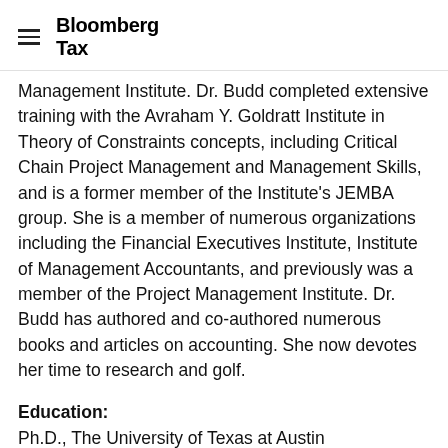Bloomberg Tax
Management Institute. Dr. Budd completed extensive training with the Avraham Y. Goldratt Institute in Theory of Constraints concepts, including Critical Chain Project Management and Management Skills, and is a former member of the Institute's JEMBA group. She is a member of numerous organizations including the Financial Executives Institute, Institute of Management Accountants, and previously was a member of the Project Management Institute. Dr. Budd has authored and co-authored numerous books and articles on accounting. She now devotes her time to research and golf.
Education:
Ph.D., The University of Texas at Austin
M.B.A, Baylor University
B.B.A., Baylor University summa cum laude